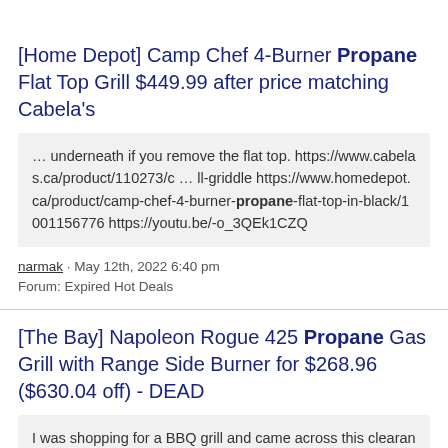[Home Depot] Camp Chef 4-Burner Propane Flat Top Grill $449.99 after price matching Cabela's
… underneath if you remove the flat top. https://www.cabelas.ca/product/110273/c … ll-griddle https://www.homedepot.ca/product/camp-chef-4-burner-propane-flat-top-in-black/1001156776 https://youtu.be/-o_3QEk1CZQ
narmak · May 12th, 2022 6:40 pm
Forum: Expired Hot Deals
[The Bay] Napoleon Rogue 425 Propane Gas Grill with Range Side Burner for $268.96 ($630.04 off) - DEAD
I was shopping for a BBQ grill and came across this clearance deal. I couldn't find many reviews for this